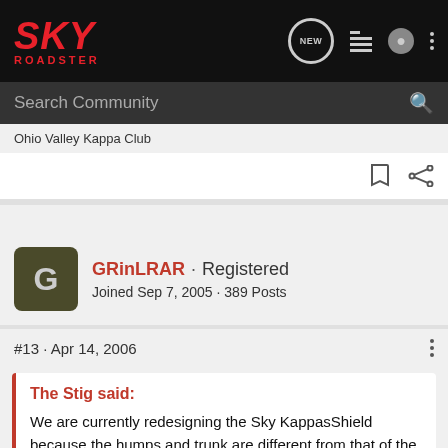[Figure (logo): Sky Roadster logo in red on dark background]
Search Community
Ohio Valley Kappa Club
GRinLRAR · Registered
Joined Sep 7, 2005 · 389 Posts
#13 · Apr 14, 2006
The Stig said:
We are currently redesigning the Sky KappasShield because the humps and trunk are different from that of the Solstice, the humps are more angular and taller. The photos below show the difference in curvature between the Solstice KappaShield and Sky trunk humps.